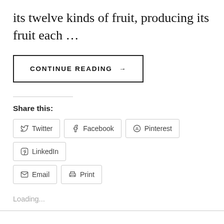its twelve kinds of fruit, producing its fruit each …
CONTINUE READING →
Share this:
Twitter
Facebook
Pinterest
LinkedIn
Email
Print
Loading...